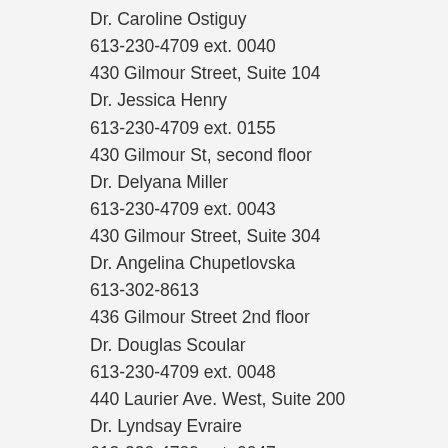Dr. Caroline Ostiguy
613-230-4709 ext. 0040
430 Gilmour Street, Suite 104
Dr. Jessica Henry
613-230-4709 ext. 0155
430 Gilmour St, second floor
Dr. Delyana Miller
613-230-4709 ext. 0043
430 Gilmour Street, Suite 304
Dr. Angelina Chupetlovska
613-302-8613
436 Gilmour Street 2nd floor
Dr. Douglas Scoular
613-230-4709 ext. 0048
440 Laurier Ave. West, Suite 200
Dr. Lyndsay Evraire
613-230-4709 ext. 0047